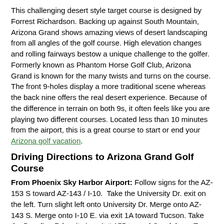This challenging desert style target course is designed by Forrest Richardson. Backing up against South Mountain, Arizona Grand shows amazing views of desert landscaping from all angles of the golf course. High elevation changes and rolling fairways bestow a unique challenge to the golfer. Formerly known as Phantom Horse Golf Club, Arizona Grand is known for the many twists and turns on the course. The front 9-holes display a more traditional scene whereas the back nine offers the real desert experience. Because of the difference in terrain on both 9s, it often feels like you are playing two different courses. Located less than 10 minutes from the airport, this is a great course to start or end your Arizona golf vacation.
Driving Directions to Arizona Grand Golf Course
From Phoenix Sky Harbor Airport: Follow signs for the AZ-153 S toward AZ-143 / I-10.  Take the University Dr. exit on the left. Turn slight left onto University Dr. Merge onto AZ-143 S. Merge onto I-10 E. via exit 1A toward Tucson. Take the Baseline Rd. exit via exit # 155 toward Guadalupe. Turn right onto Baseline Rd. Turn left onto S. Pointe Pkwy. Follow signs to golf course.
Total Est. Time: 12 minutes